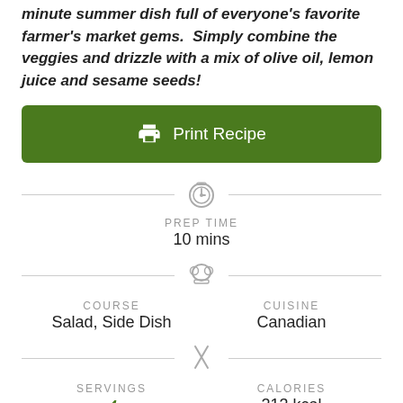minute summer dish full of everyone's favorite farmer's market gems. Simply combine the veggies and drizzle with a mix of olive oil, lemon juice and sesame seeds!
Print Recipe
PREP TIME
10 mins
COURSE
Salad, Side Dish
CUISINE
Canadian
SERVINGS
4
CALORIES
213 kcal